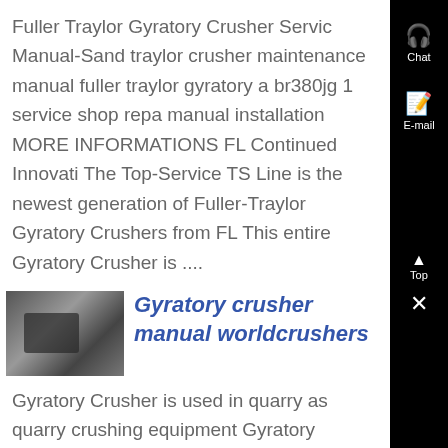Fuller Traylor Gyratory Crusher Service Manual-Sand traylor crusher maintenance manual fuller traylor gyratory a br380jg 1 service shop repair manual installation MORE INFORMATIONS FL Continued Innovation The Top-Service TS Line is the newest generation of Fuller-Traylor Gyratory Crushers from FL This entire Gyratory Crusher is ....
[Figure (photo): Thumbnail photo of a gyratory crusher machine]
Gyratory crusher manual worldcrushers
Gyratory Crusher is used in quarry as quarry crushing equipment Gyratory